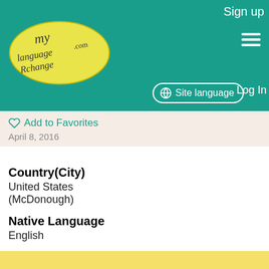Sign up  Site language  Log In
Add to Favorites
April 8, 2016
Country(City)
United States (McDonough)
Native Language
English
Practicing Language
Japanese
Description
I am an american high school student looking to help others learn english, and right now I want to learn japanese an chinese